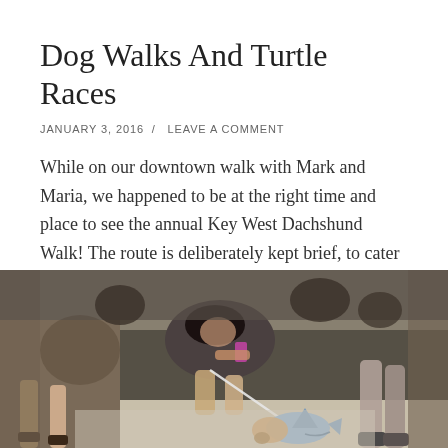Dog Walks And Turtle Races
JANUARY 3, 2016  /  LEAVE A COMMENT
While on our downtown walk with Mark and Maria, we happened to be at the right time and place to see the annual Key West Dachshund Walk! The route is deliberately kept brief, to cater to the dogs’ short legs. Many of the dogs were in costumes…
[Figure (photo): Crowd scene at a street event; people crouching and standing, a small dachshund dog dressed in a shark costume in the foreground being led on a leash]